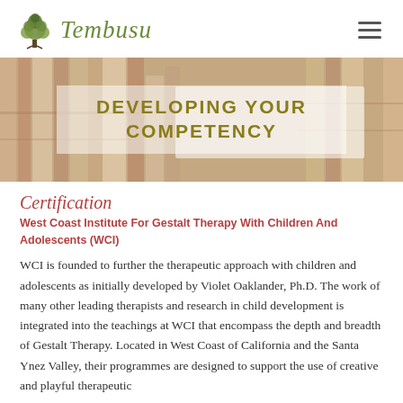[Figure (logo): Tembusu logo with tree illustration and italic script text]
[Figure (photo): Stack of books/papers viewed from above forming a background banner image with semi-transparent white overlay containing the title text DEVELOPING YOUR COMPETENCY]
DEVELOPING YOUR COMPETENCY
Certification
West Coast Institute For Gestalt Therapy With Children And Adolescents (WCI)
WCI is founded to further the therapeutic approach with children and adolescents as initially developed by Violet Oaklander, Ph.D. The work of many other leading therapists and research in child development is integrated into the teachings at WCI that encompass the depth and breadth of Gestalt Therapy. Located in West Coast of California and the Santa Ynez Valley, their programmes are designed to support the use of creative and playful therapeutic